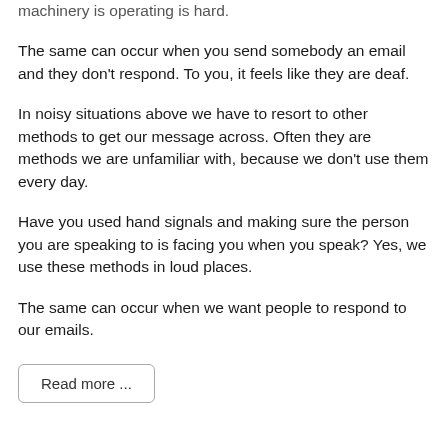machinery is operating is hard.
The same can occur when you send somebody an email and they don’t respond. To you, it feels like they are deaf.
In noisy situations above we have to resort to other methods to get our message across. Often they are methods we are unfamiliar with, because we don’t use them every day.
Have you used hand signals and making sure the person you are speaking to is facing you when you speak? Yes, we use these methods in loud places.
The same can occur when we want people to respond to our emails.
Read more ...